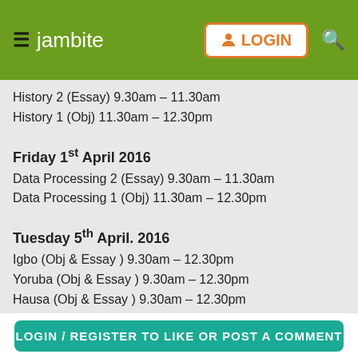jambite LOGIN
History 2 (Essay) 9.30am – 11.30am
History 1 (Obj) 11.30am – 12.30pm
Friday 1st April 2016
Data Processing 2 (Essay) 9.30am – 11.30am
Data Processing 1 (Obj) 11.30am – 12.30pm
Tuesday 5th April. 2016
Igbo (Obj & Essay ) 9.30am – 12.30pm
Yoruba (Obj & Essay ) 9.30am – 12.30pm
Hausa (Obj & Essay ) 9.30am – 12.30pm
Civic Education (Obj & Essay ) 2.00pm – 5.00pm
Wednesday 6th April 2016
Physics Practical (Alt. A) 9.30am – 12.15pm
LOGIN / REGISTER TO LIKE OR POST A COMMENT